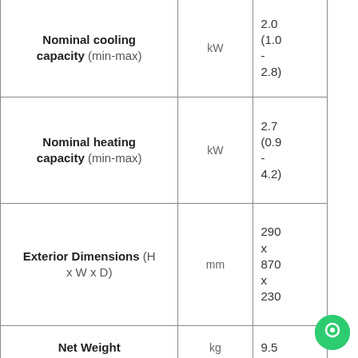| Parameter | Unit | Value |
| --- | --- | --- |
| Nominal cooling capacity (min-max) | kW | 2.0
(1.0
-
2.8) |
| Nominal heating capacity (min-max) | kW | 2.7
(0.9
-
4.2) |
| Exterior Dimensions (H x W x D) | mm | 290 x 870 x 230 |
| Net Weight | kg | 9.5 |
| Air Flow Cooling (Hi/Me/Lo) | m³/min | 9.3 / 7.0 / 5.9 / 5.0 |
|  |  | 10.0 |